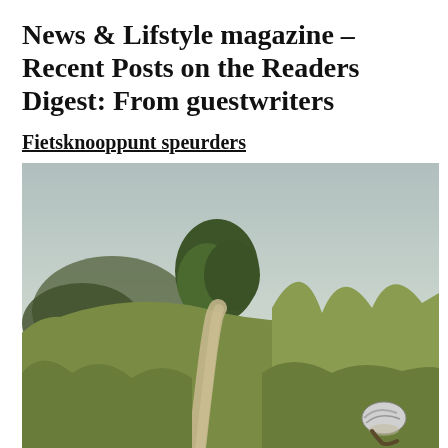News & Lifstyle magazine – Recent Posts on the Readers Digest: From guestwriters
Fietsknooppunt speurders
[Figure (photo): Outdoor nature scene showing a narrow dirt trail winding through tall green grass on a hillside, with a large tree in the middle background under a pale sky. A cyclist wearing a helmet is visible at the bottom right of the image riding along the path.]